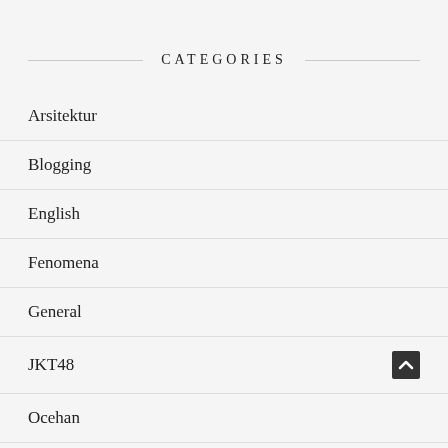CATEGORIES
Arsitektur
Blogging
English
Fenomena
General
JKT48
Ocehan